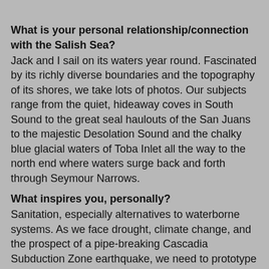[partial text at top, cut off]
What is your personal relationship/connection with the Salish Sea?
Jack and I sail on its waters year round. Fascinated by its richly diverse boundaries and the topography of its shores, we take lots of photos. Our subjects range from the quiet, hideaway coves in South Sound to the great seal haulouts of the San Juans to the majestic Desolation Sound and the chalky blue glacial waters of Toba Inlet all the way to the north end where waters surge back and forth through Seymour Narrows.
What inspires you, personally?
Sanitation, especially alternatives to waterborne systems. As we face drought, climate change, and the prospect of a pipe-breaking Cascadia Subduction Zone earthquake, we need to prototype new technologies that treat pathogens and toxics and help restore our soils. The recent NOAA Fisheries study of the impact of pharmaceuticals on fish should be a wake-up call.
Can you tell me about a particular experience or